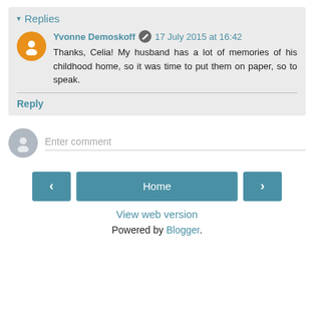▾ Replies
Yvonne Demoskoff ✎ 17 July 2015 at 16:42
Thanks, Celia! My husband has a lot of memories of his childhood home, so it was time to put them on paper, so to speak.
Reply
Enter comment
< Home >
View web version
Powered by Blogger.